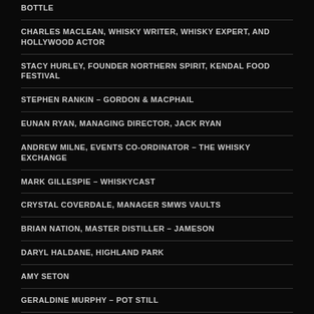BOTTLE
CHARLES MACLEAN, WHISKY WRITER, WHISKY EXPERT, AND HOLLYWOOD ACTOR
STACY HURLEY, FOUNDER NORTHERN SPIRIT, KENDAL FOOD FESTIVAL
STEPHEN RANKIN – GORDON & MACPHAIL
EUNAN RYAN, MANAGING DIRECTOR, JACK RYAN
ANDREW MILNE, EVENTS CO-ORDINATOR – THE WHISKY EXCHANGE
MARK GILLESPIE – WHISKYCAST
CRYSTAL COVERDALE, MANAGER SMWS VAULTS
BRIAN NATION, MASTER DISTILLER – JAMESON
DARYL HALDANE, HIGHLAND PARK
AMY SETON
GERALDINE MURPHY – POT STILL